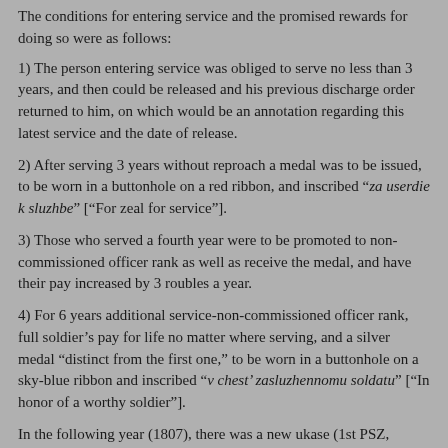The conditions for entering service and the promised rewards for doing so were as follows:
1) The person entering service was obliged to serve no less than 3 years, and then could be released and his previous discharge order returned to him, on which would be an annotation regarding this latest service and the date of release.
2) After serving 3 years without reproach a medal was to be issued, to be worn in a buttonhole on a red ribbon, and inscribed “za userdie k sluzhbe” [“For zeal for service”].
3) Those who served a fourth year were to be promoted to non-commissioned officer rank as well as receive the medal, and have their pay increased by 3 roubles a year.
4) For 6 years additional service-non-commissioned officer rank, full soldier’s pay for life no matter where serving, and a silver medal “distinct from the first one,” to be worn in a buttonhole on a sky-blue ribbon and inscribed “v chest’ zasluzhennomu soldatu” [“In honor of a worthy soldier”].
In the following year (1807), there was a new ukase (1st PSZ, 22448 and 22449) which proposed voluntary entry into service under conditions identical to those of the ukase of 20 October 1806, except with the word “soldier” in the medal’s inscription